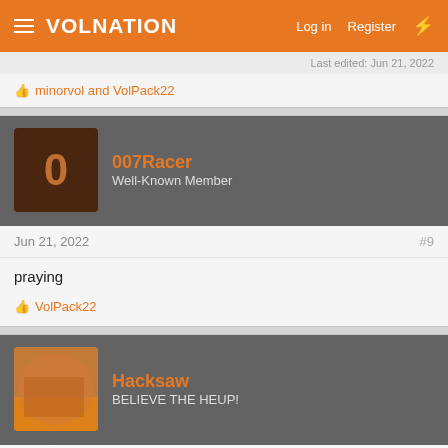VolNation — Log in   Register
Last edited: Jun 21, 2022
👍 minorvol and VolPack22
007Racer
Well-Known Member
Jun 21, 2022   #9
praying
👍 VolPack22
Hacksaw
BELIEVE THE HEUP!
Jun 21, 2022   #10
Sorry to hear this. Rest to the family (and from all VOls, I'm